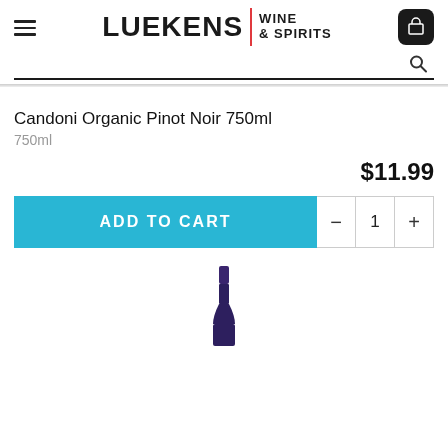[Figure (logo): Luekens Wine & Spirits logo with hamburger menu icon on the left and shopping cart icon on the right]
Candoni Organic Pinot Noir 750ml
750ml
$11.99
ADD TO CART
[Figure (photo): Top portion of a dark blue wine bottle (Candoni Organic Pinot Noir) showing the neck and foil capsule]